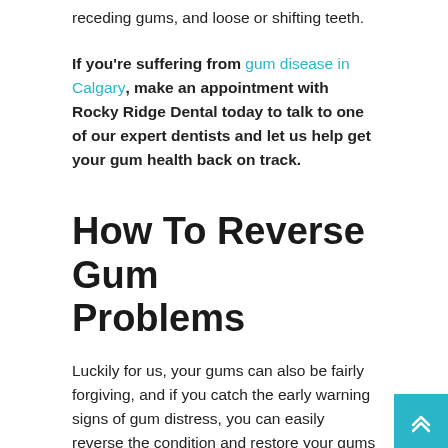receding gums, and loose or shifting teeth.
If you're suffering from gum disease in Calgary, make an appointment with Rocky Ridge Dental today to talk to one of our expert dentists and let us help get your gum health back on track.
How To Reverse Gum Problems
Luckily for us, your gums can also be fairly forgiving, and if you catch the early warning signs of gum distress, you can easily reverse the condition and restore your gums back to good health.
Paying particular attention to your gum line when brushing your teeth is the first step.